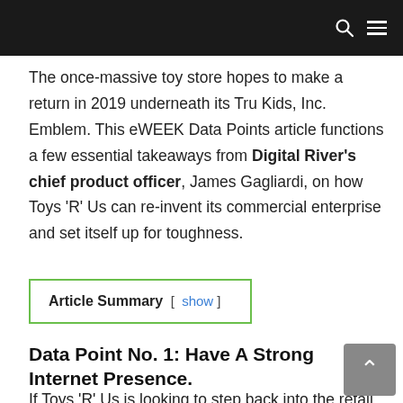The once-massive toy store hopes to make a return in 2019 underneath its Tru Kids, Inc. Emblem. This eWEEK Data Points article functions a few essential takeaways from Digital River's chief product officer, James Gagliardi, on how Toys 'R' Us can re-invent its commercial enterprise and set itself up for toughness.
Article Summary [ show ]
Data Point No. 1: Have A Strong Internet Presence.
If Toys 'R' Us is looking to step back into the retail sport,